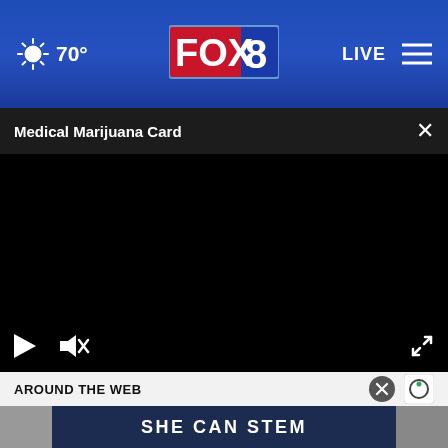FOX 8 navigation bar with weather 70° and LIVE button
Medical Marijuana Card
[Figure (screenshot): Black video player with play button, mute button, and fullscreen button controls at bottom]
AROUND THE WEB
[Figure (screenshot): SHE CAN STEM advertisement banner on dark navy background]